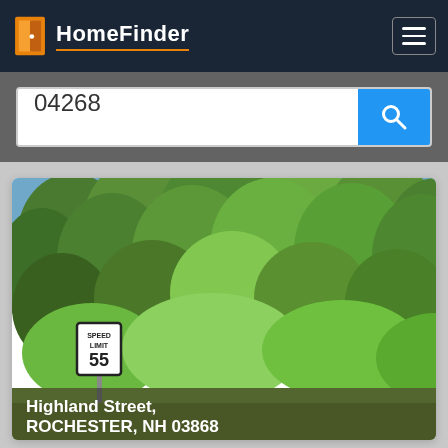HomeFinder
04268
[Figure (screenshot): Wooded lot property photo showing dense green trees and a Speed Limit 55 road sign in the lower left corner, with property address overlay at the bottom reading Highland Street, ROCHESTER, NH 03868]
Highland Street, ROCHESTER, NH 03868